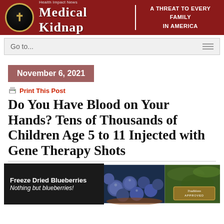Medical Kidnap | A Threat to Every Family in America
Go to...
November 6, 2021
Print This Post
Do You Have Blood on Your Hands? Tens of Thousands of Children Age 5 to 11 Injected with Gene Therapy Shots
[Figure (photo): Advertisement banner for Freeze Dried Blueberries — 'Freeze Dried Blueberries / Nothing but blueberries!' with Traditions Approved badge, showing blueberries and greenery]